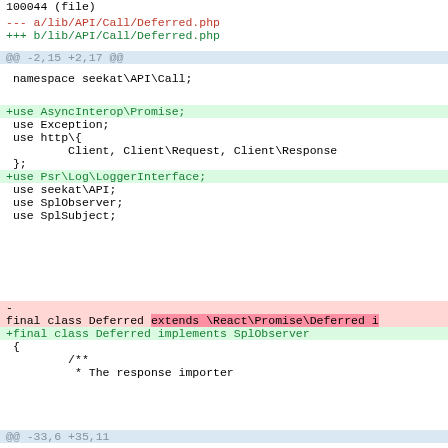100044 (file)
--- a/lib/API/Call/Deferred.php
+++ b/lib/API/Call/Deferred.php
@@ -2,15 +2,17 @@
namespace seekat\API\Call;
+use AsyncInterop\Promise;
 use Exception;
 use http\{
         Client, Client\Request, Client\Response
 };
+use Psr\Log\LoggerInterface;
 use seekat\API;
 use SplObserver;
 use SplSubject;
-
final class Deferred extends \React\Promise\Deferred i
+final class Deferred implements SplObserver
 {
         /**
          * The response importer
@@ -33,6 +35,11